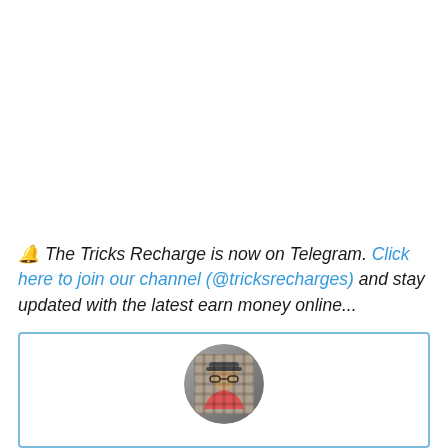🔔 The Tricks Recharge is now on Telegram. Click here to join our channel (@tricksrecharges) and stay updated with the latest earn money online...
[Figure (photo): A card/widget with a blue border containing a circular avatar photo of a person at the bottom of the page]